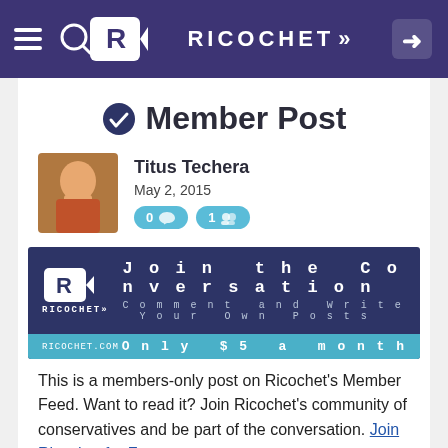RICOCHET
Member Post
Titus Techera
May 2, 2015
0 comments  1 member
[Figure (screenshot): Ricochet 'Join the Conversation' promotional banner with logo, tagline 'Comment and Write Your Own Posts', and 'Only $5 a month' on teal strip]
This is a members-only post on Ricochet's Member Feed. Want to read it? Join Ricochet's community of conservatives and be part of the conversation. Join Ricochet for Free.